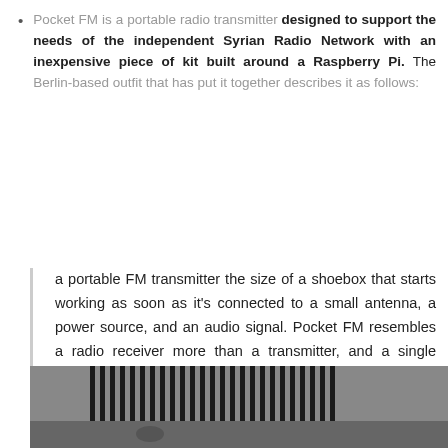Pocket FM is a portable radio transmitter designed to support the needs of the independent Syrian Radio Network with an inexpensive piece of kit built around a Raspberry Pi. The Berlin-based outfit that has put it together describes it as follows:
a portable FM transmitter the size of a shoebox that starts working as soon as it’s connected to a small antenna, a power source, and an audio signal. Pocket FM resembles a radio receiver more than a transmitter, and a single device can air radio programs over a radius of about six kilometers.
[Figure (photo): Black and white photo showing a dark ridged/finned object (heat sink or similar electronic component) against a grey background, partially visible at bottom of page.]